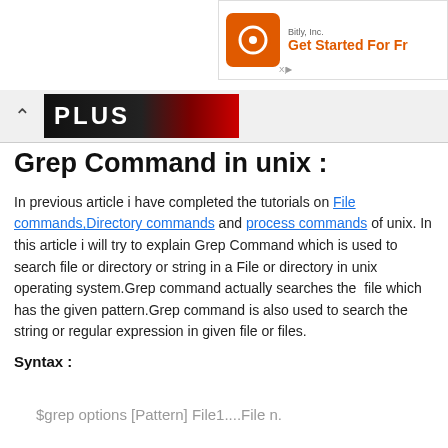[Figure (screenshot): Bitly Inc. advertisement banner with orange logo showing 'Get Started For Fr...' text]
[Figure (screenshot): Collapsed navigation bar with chevron and partial banner image showing 'PLUS' text with red/black gradient]
Grep Command in unix :
In previous article i have completed the tutorials on File commands,Directory commands and process commands of unix. In this article i will try to explain Grep Command which is used to search file or directory or string in a File or directory in unix operating system.Grep command actually searches the file which has the given pattern.Grep command is also used to search the string or regular expression in given file or files.
Syntax :
$grep options [Pattern] File1....File n.